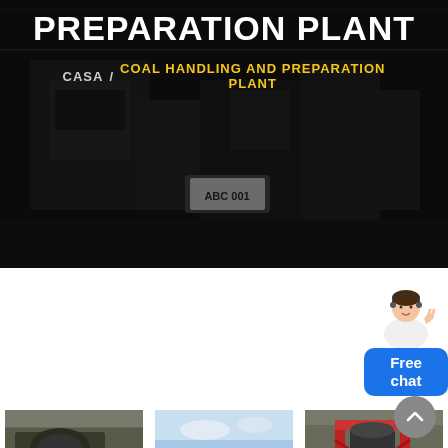PREPARATION PLANT
CASA / COAL HANDLING AND PREPARATION PLANT
[Figure (photo): Customer service representative chat widget with 'Free chat' button]
[Figure (photo): Three side-by-side photos of coal handling and preparation plant machinery and equipment with yellow banners at the bottom]